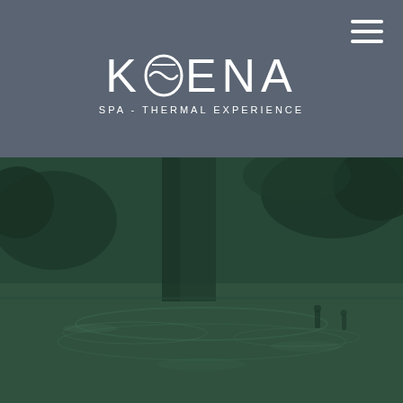[Figure (logo): KOENA Spa - Thermal Experience logo with stylized O containing wave symbol, white text on dark grey-blue header bar]
[Figure (photo): Dark teal-toned photo of a thermal spa water pool with stone or wood features, people visible in background]